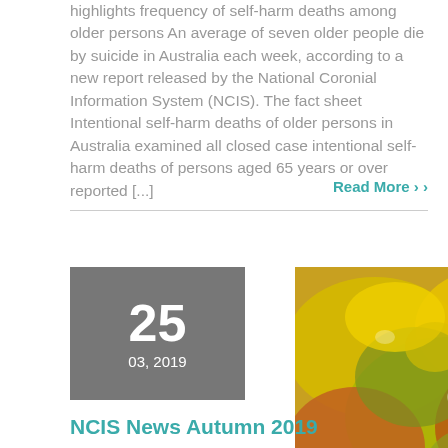highlights frequency of self-harm deaths among older persons An average of seven older people die by suicide in Australia each week, according to a new report released by the National Coronial Information System (NCIS). The fact sheet Intentional self-harm deaths of older persons in Australia examined all closed case intentional self-harm deaths of persons aged 65 years or over reported [...]
Read More ›
[Figure (photo): Close-up photo of autumn leaves in yellow, orange, and green colors]
NCIS News Autumn 2019